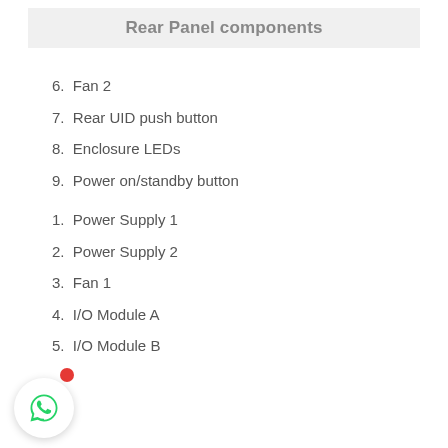Rear Panel components
6.  Fan 2
7.  Rear UID push button
8.  Enclosure LEDs
9.  Power on/standby button
1.  Power Supply 1
2.  Power Supply 2
3.  Fan 1
4.  I/O Module A
5.  I/O Module B